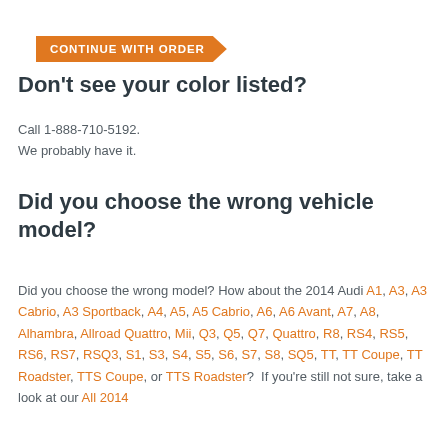[Figure (other): Orange arrow/banner button with text CONTINUE WITH ORDER]
Don't see your color listed?
Call 1-888-710-5192.
We probably have it.
Did you choose the wrong vehicle model?
Did you choose the wrong model? How about the 2014 Audi A1, A3, A3 Cabrio, A3 Sportback, A4, A5, A5 Cabrio, A6, A6 Avant, A7, A8, Alhambra, Allroad Quattro, Mii, Q3, Q5, Q7, Quattro, R8, RS4, RS5, RS6, RS7, RSQ3, S1, S3, S4, S5, S6, S7, S8, SQ5, TT, TT Coupe, TT Roadster, TTS Coupe, or TTS Roadster? If you're still not sure, take a look at our All 2014